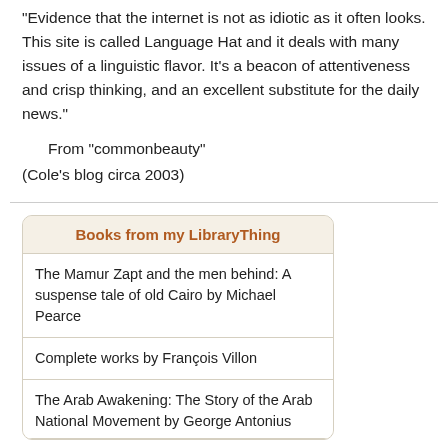“Evidence that the internet is not as idiotic as it often looks. This site is called Language Hat and it deals with many issues of a linguistic flavor. It’s a beacon of attentiveness and crisp thinking, and an excellent substitute for the daily news.”
From “commonbeauty”
(Cole’s blog circa 2003)
Books from my LibraryThing
The Mamur Zapt and the men behind: A suspense tale of old Cairo by Michael Pearce
Complete works by François Villon
The Arab Awakening: The Story of the Arab National Movement by George Antonius